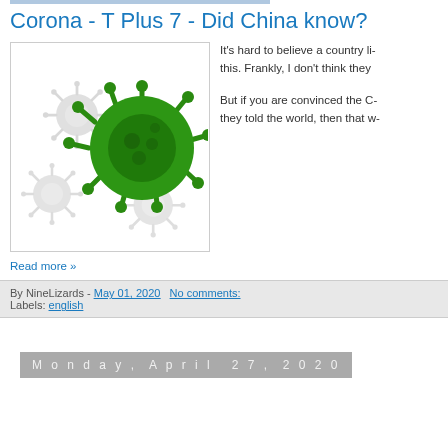Corona - T Plus 7 - Did China know?
[Figure (illustration): Green coronavirus particles illustration on white background, showing spiky spherical virus structures in shades of green and gray.]
It's hard to believe a country li- this. Frankly, I don't think they
But if you are convinced the C- they told the world, then that w-
Read more »
By NineLizards - May 01, 2020   No comments:
Labels: english
Monday, April 27, 2020